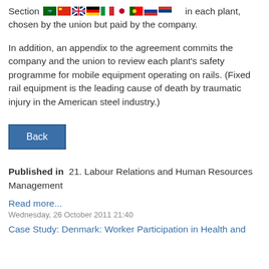Section ... in each plant, chosen by the union but paid by the company.
In addition, an appendix to the agreement commits the company and the union to review each plant's safety programme for mobile equipment operating on rails. (Fixed rail equipment is the leading cause of death by traumatic injury in the American steel industry.)
Back
Published in  21. Labour Relations and Human Resources Management
Read more...
Wednesday, 26 October 2011 21:40
Case Study: Denmark: Worker Participation in Health and